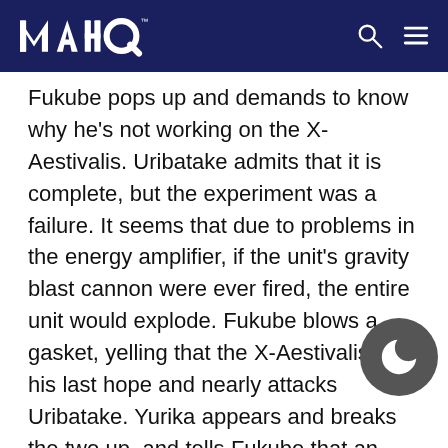MAHQ
Fukube pops up and demands to know why he's not working on the X-Aestivalis. Uribatake admits that it is complete, but the experiment was a failure. It seems that due to problems in the energy amplifier, if the unit's gravity blast cannon were ever fired, the entire unit would explode. Fukube blows a gasket, yelling that the X-Aestivalis is his last hope and nearly attacks Uribatake. Yurika appears and breaks the two up, and tells Fukube that an officer should conduct himself as befits his position. Falling quiet, Fukube retires to the ship's mess, where he dejected watches a Gekiganger episode currently being shown. Eventually, Howmei has to tell him to leave so they can close up. Fukube dejectedly tells h that there was a time, once, when he believed i truth and justice. Meanwhile, back down in the